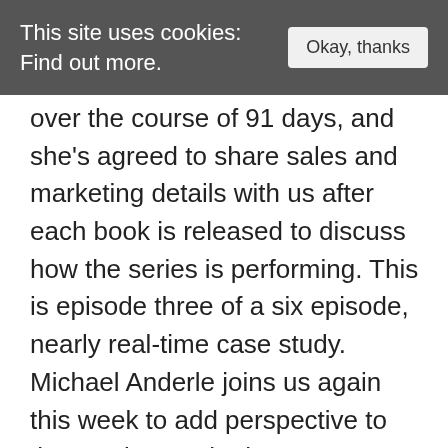This site uses cookies: Find out more.   Okay, thanks
over the course of 91 days, and she’s agreed to share sales and marketing details with us after each book is released to discuss how the series is performing. This is episode three of a six episode, nearly real-time case study. Michael Anderle joins us again this week to add perspective to the results Martha has seen to date. (Be sure to subscribe, so you don’t miss an episode of the case study.)